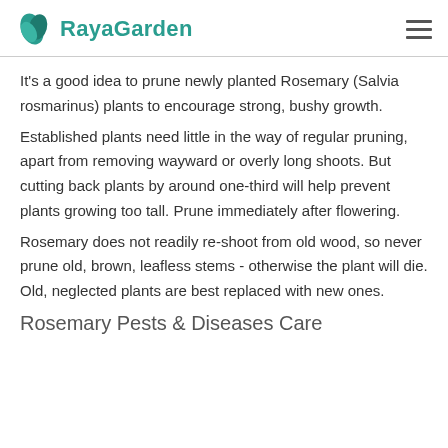RayaGarden
It's a good idea to prune newly planted Rosemary (Salvia rosmarinus) plants to encourage strong, bushy growth.
Established plants need little in the way of regular pruning, apart from removing wayward or overly long shoots. But cutting back plants by around one-third will help prevent plants growing too tall. Prune immediately after flowering.
Rosemary does not readily re-shoot from old wood, so never prune old, brown, leafless stems - otherwise the plant will die. Old, neglected plants are best replaced with new ones.
Rosemary Pests & Diseases Care